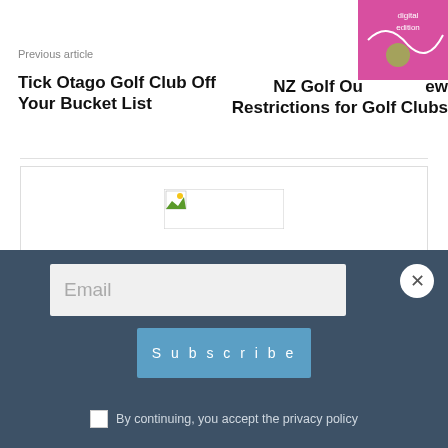Previous article
Tick Otago Golf Club Off Your Bucket List
NZ Golf Outlined New Restrictions for Golf Clubs
[Figure (photo): Partially visible pink magazine cover in top right corner]
[Figure (photo): Broken image placeholder in author box]
Neville Idour
Email
Subscribe
By continuing, you accept the privacy policy